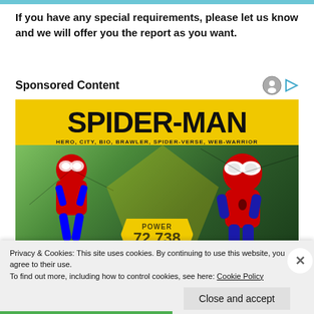If you have any special requirements, please let us know and we will offer you the report as you want.
Sponsored Content
[Figure (illustration): Spider-Man advertisement banner with yellow background showing 'SPIDER-MAN' title text, subtitle 'HERO, CITY, BIO, BRAWLER, SPIDER-VERSE, WEB-WARRIOR', two Spider-Man character illustrations, and a power badge showing 'POWER 72,738']
Privacy & Cookies: This site uses cookies. By continuing to use this website, you agree to their use.
To find out more, including how to control cookies, see here: Cookie Policy
Close and accept